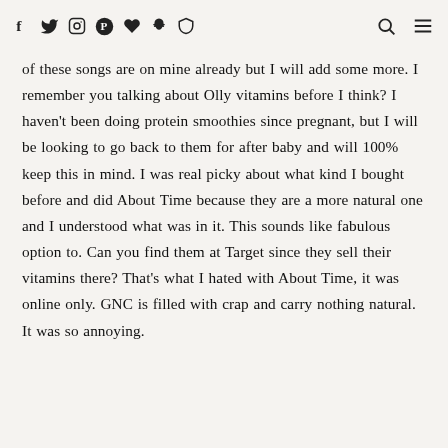[social icons: f, twitter, instagram, pinterest, heart, snapchat, other] [search icon] [menu icon]
of these songs are on mine already but I will add some more. I remember you talking about Olly vitamins before I think? I haven't been doing protein smoothies since pregnant, but I will be looking to go back to them for after baby and will 100% keep this in mind. I was real picky about what kind I bought before and did About Time because they are a more natural one and I understood what was in it. This sounds like fabulous option to. Can you find them at Target since they sell their vitamins there? That's what I hated with About Time, it was online only. GNC is filled with crap and carry nothing natural. It was so annoying.